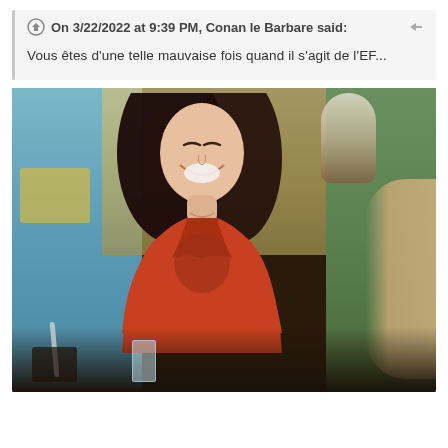On 3/22/2022 at 9:39 PM, Conan le Barbare said:
Vous êtes d'une telle mauvaise fois quand il s'agit de l'EF...
[Figure (photo): A woman with long dark hair wearing a red cardigan, laughing joyfully at a table. The background shows a kitchen-like setting. This appears to be a still from the TV show Friends (character Monica Geller played by Courteney Cox).]